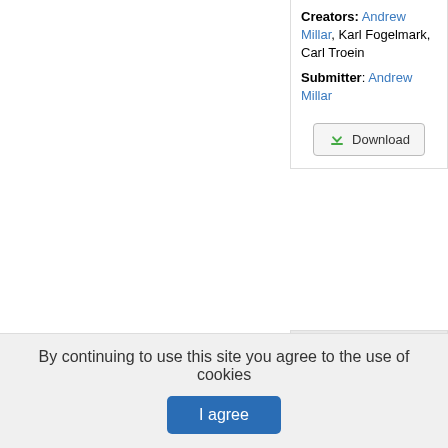Creators: Andrew Millar, Karl Fogelmark, Carl Troein
Submitter: Andrew Millar
[Figure (other): Download button with green arrow icon]
[Figure (logo): Copasi software logo icon]
P2011.6.1 Copasi
Arabidopsis clock model P2011.6.1 SBML imported into Copasi 4.8 and saved as native Copasi file.
Creators: Andrew Millar, Uriel Urquiza Garcia, Kevin Stratford, EPCC
Submitter: Andrew
By continuing to use this site you agree to the use of cookies
I agree